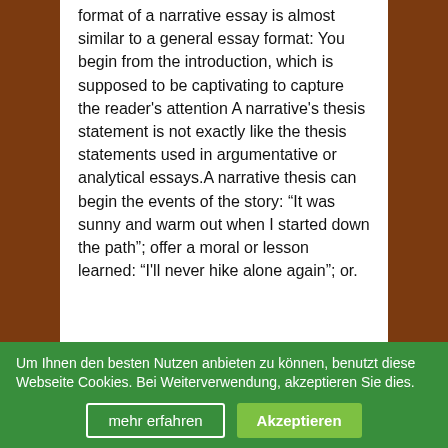format of a narrative essay is almost similar to a general essay format: You begin from the introduction, which is supposed to be captivating to capture the reader's attention A narrative's thesis statement is not exactly like the thesis statements used in argumentative or analytical essays.A narrative thesis can begin the events of the story: “It was sunny and warm out when I started down the path”; offer a moral or lesson learned: “I'll never hike alone again”; or.
Veröffentlicht in Allgemein
Schreibe einen
Um Ihnen den besten Nutzen anbieten zu können, benutzt diese Webseite Cookies. Bei Weiterverwendung, akzeptieren Sie dies.